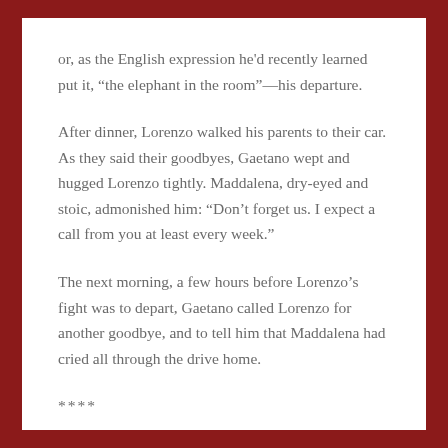or, as the English expression he'd recently learned put it, "the elephant in the room"—his departure.
After dinner, Lorenzo walked his parents to their car. As they said their goodbyes, Gaetano wept and hugged Lorenzo tightly. Maddalena, dry-eyed and stoic, admonished him: "Don't forget us. I expect a call from you at least every week."
The next morning, a few hours before Lorenzo's fight was to depart, Gaetano called Lorenzo for another goodbye, and to tell him that Maddalena had cried all through the drive home.
****
As Carlondo had predicted, Lorenzo loved New York